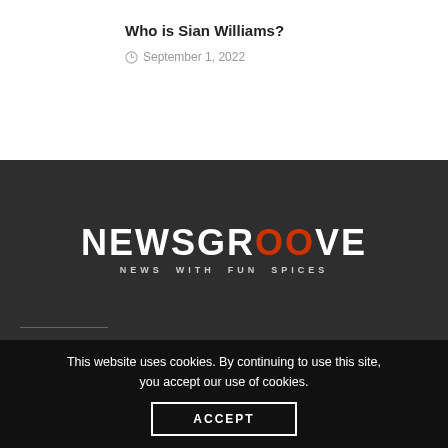Who is Sian Williams?
September 1, 2022
[Figure (logo): NewsGroove logo with tagline 'NEWS WITH FUN SPICES' on dark background]
This website uses cookies. By continuing to use this site, you accept our use of cookies.
ACCEPT